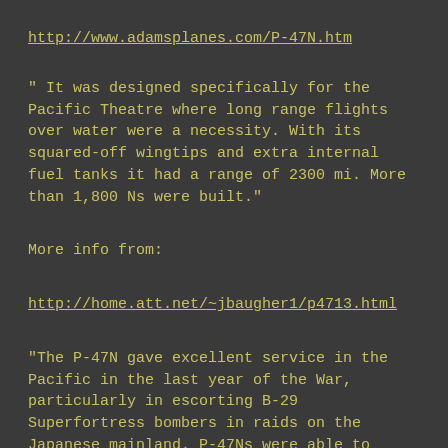http://www.adamsplanes.com/P-47N.htm
" It was designed specifically for the Pacific Theatre where long range flights over water were a necessity. With its squared-off wingtips and extra internal fuel tanks it had a range of 2300 mi. More than 1,800 Ns were built."
More info from:
http://home.att.net/~jbaugher1/p4713.html
"The P-47N gave excellent service in the Pacific in the last year of the War, particularly in escorting B-29 Superfortress bombers in raids on the Japanese mainland. P-47Ns were able to escort the bombers all the way from Saipan to Japan and on many other long, overwater flights."